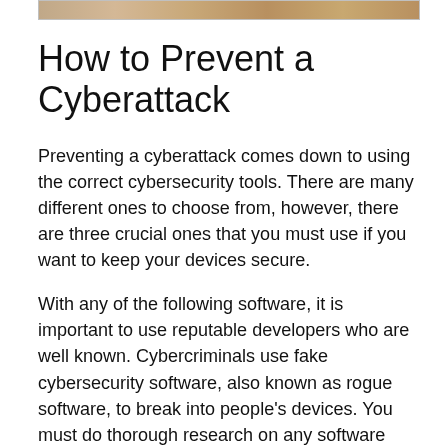[Figure (photo): Partial image of a person visible at the top of the page, cropped to a narrow strip]
How to Prevent a Cyberattack
Preventing a cyberattack comes down to using the correct cybersecurity tools. There are many different ones to choose from, however, there are three crucial ones that you must use if you want to keep your devices secure.
With any of the following software, it is important to use reputable developers who are well known. Cybercriminals use fake cybersecurity software, also known as rogue software, to break into people's devices. You must do thorough research on any software you want to install on your device and find several different reviews from multiple